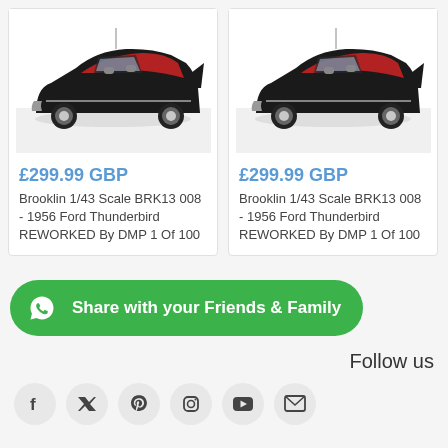[Figure (photo): Black 1956 Ford Thunderbird convertible scale model (Brooklin 1/43) on white surface, left card]
£299.99 GBP
Brooklin 1/43 Scale BRK13 008 - 1956 Ford Thunderbird REWORKED By DMP 1 Of 100
[Figure (photo): Black 1956 Ford Thunderbird convertible scale model (Brooklin 1/43) on white surface, right card]
£299.99 GBP
Brooklin 1/43 Scale BRK13 008 - 1956 Ford Thunderbird REWORKED By DMP 1 Of 100
[Figure (logo): Green rounded WhatsApp share button with text: Share with your Friends & Family]
Follow us
[Figure (infographic): Row of social media icons: Facebook, Twitter, Pinterest, Instagram, YouTube, Email]